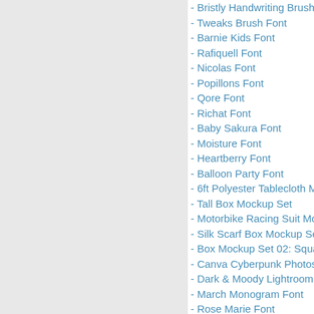- Bristly Handwriting Brush Script
- Tweaks Brush Font
- Barnie Kids Font
- Rafiquell Font
- Nicolas Font
- Popillons Font
- Qore Font
- Richat Font
- Baby Sakura Font
- Moisture Font
- Heartberry Font
- Balloon Party Font
- 6ft Polyester Tablecloth Mock
- Tall Box Mockup Set
- Motorbike Racing Suit Mock-U
- Silk Scarf Box Mockup Set 07/
- Box Mockup Set 02: Square
- Canva Cyberpunk Photoshop
- Dark & Moody Lightroom Pres
- March Monogram Font
- Rose Marie Font
- Black Unicorn Font
- Little Farmhouse Font
- Generation Font
- Stigsa Display Font Family